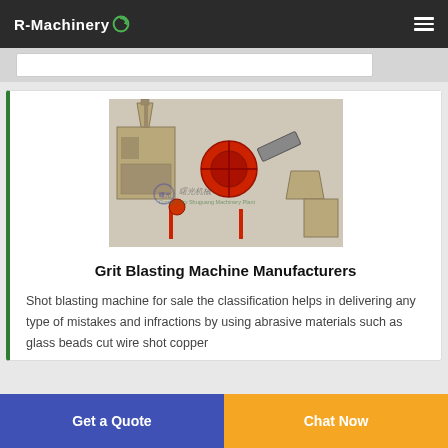R-Machinery
[Figure (photo): Industrial grit blasting machine equipment with hoppers, conveyors, and processing units. Watermark shows '曙光机械' and 'Gongyi City Shuguang Machinery Plant'.]
Grit Blasting Machine Manufacturers
Shot blasting machine for sale the classification helps in delivering any type of mistakes and infractions by using abrasive materials such as glass beads cut wire shot copper
Get a Quote
Chat Now